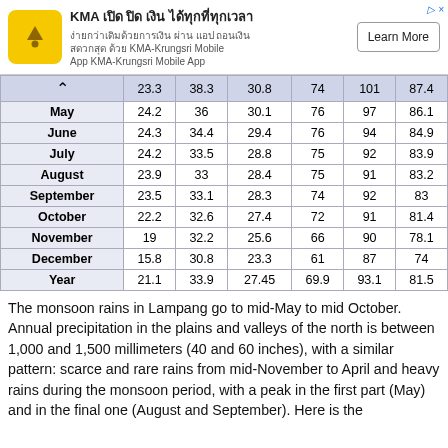[Figure (other): KMA Krungsri Mobile App advertisement banner with yellow logo, Thai text, and Learn More button]
| ^ | 23.3 | 38.3 | 30.8 | 74 | 101 | 87.4 |
| --- | --- | --- | --- | --- | --- | --- |
| May | 24.2 | 36 | 30.1 | 76 | 97 | 86.1 |
| June | 24.3 | 34.4 | 29.4 | 76 | 94 | 84.9 |
| July | 24.2 | 33.5 | 28.8 | 75 | 92 | 83.9 |
| August | 23.9 | 33 | 28.4 | 75 | 91 | 83.2 |
| September | 23.5 | 33.1 | 28.3 | 74 | 92 | 83 |
| October | 22.2 | 32.6 | 27.4 | 72 | 91 | 81.4 |
| November | 19 | 32.2 | 25.6 | 66 | 90 | 78.1 |
| December | 15.8 | 30.8 | 23.3 | 61 | 87 | 74 |
| Year | 21.1 | 33.9 | 27.45 | 69.9 | 93.1 | 81.5 |
The monsoon rains in Lampang go to mid-May to mid October. Annual precipitation in the plains and valleys of the north is between 1,000 and 1,500 millimeters (40 and 60 inches), with a similar pattern: scarce and rare rains from mid-November to April and heavy rains during the monsoon period, with a peak in the first part (May) and in the final one (August and September). Here is the